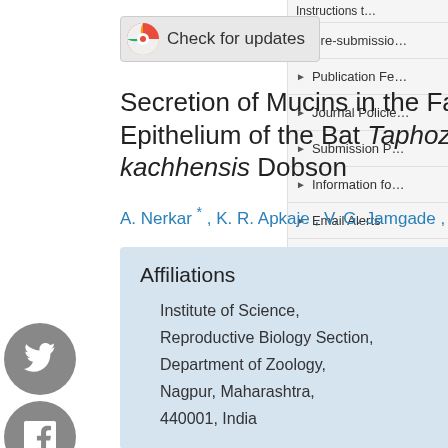[Figure (other): Check for updates badge button]
Secretion of Mucins in the Fallopian Tube Epithelium of the Bat Taphozous kachhensis Dobson
A. Nerkar *, K. R. Apkaje , V. G. Jamgade , M. M. Gadegone
Affiliations
Institute of Science, Reproductive Biology Section, Department of Zoology, Nagpur, Maharashtra, 440001, India
Archives
022
Volume 26, Issue
Volume 26, Issue